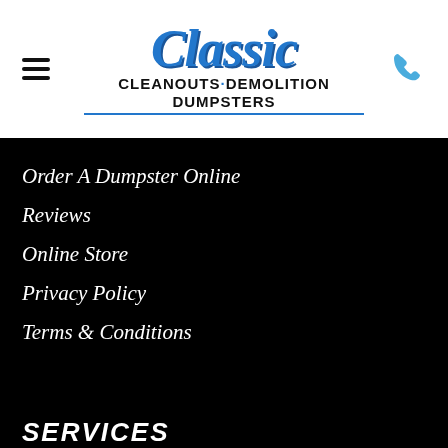[Figure (logo): Classic Cleanouts Demolition Dumpsters logo with blue script 'Classic' text and black bold sans-serif subtitle]
Order A Dumpster Online
Reviews
Online Store
Privacy Policy
Terms & Conditions
SERVICES